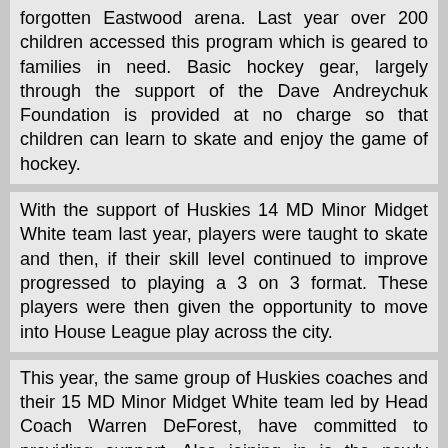forgotten Eastwood arena. Last year over 200 children accessed this program which is geared to families in need. Basic hockey gear, largely through the support of the Dave Andreychuk Foundation is provided at no charge so that children can learn to skate and enjoy the game of hockey.
With the support of Huskies 14 MD Minor Midget White team last year, players were taught to skate and then, if their skill level continued to improve progressed to playing a 3 on 3 format. These players were then given the opportunity to move into House League play across the city.
This year, the same group of Huskies coaches and their 15 MD Minor Midget White team led by Head Coach Warren DeForest, have committed to providing support. Also joining in is the newly formed McMaster Women's Hockey team!